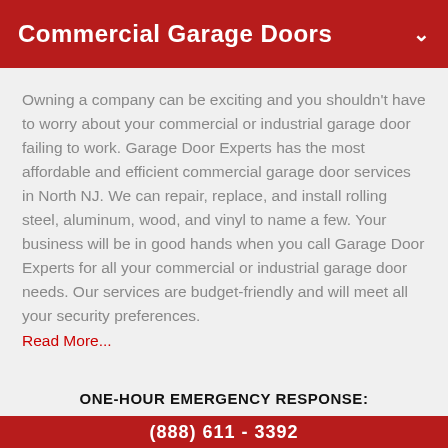Commercial Garage Doors
Owning a company can be exciting and you shouldn't have to worry about your commercial or industrial garage door failing to work. Garage Door Experts has the most affordable and efficient commercial garage door services in North NJ. We can repair, replace, and install rolling steel, aluminum, wood, and vinyl to name a few. Your business will be in good hands when you call Garage Door Experts for all your commercial or industrial garage door needs. Our services are budget-friendly and will meet all your security preferences.
Read More...
Commercial Garage Door Installation
ONE-HOUR EMERGENCY RESPONSE:
(888) 611 - 3392